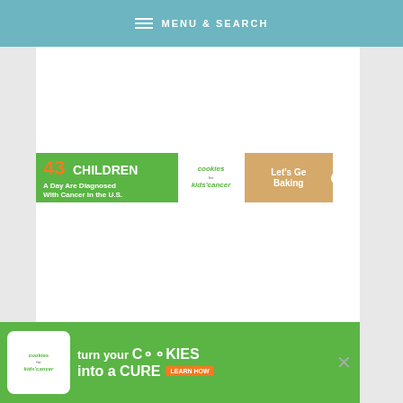≡ MENU & SEARCH
[Figure (infographic): Advertisement banner: '43 CHILDREN A Day Are Diagnosed With Cancer in the U.S.' with cookies for kids' cancer logo and 'Let's Get Baking' text on brown cookie background]
[Figure (logo): Wordmark logo watermark (III°)]
[Figure (infographic): Bottom advertisement banner: 'turn your COOKIES into a CURE LEARN HOW' with cookies for kids' cancer logo, and a close (X) button]